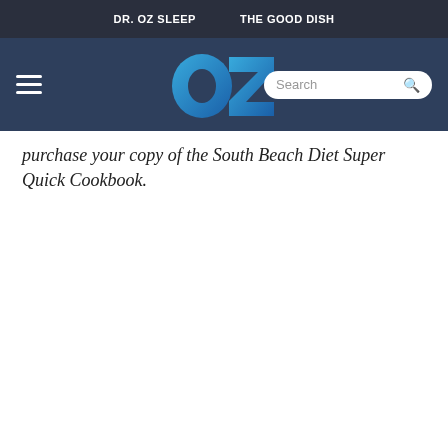DR. OZ SLEEP   THE GOOD DISH
[Figure (logo): OZ logo - stylized blue OZ letters with gradient, hamburger menu icon on left, search box on right]
purchase your copy of the South Beach Diet Super Quick Cookbook.